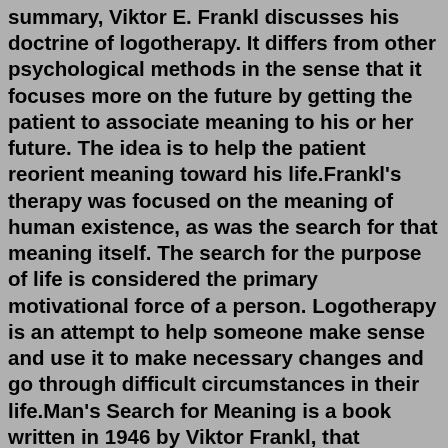summary, Viktor E. Frankl discusses his doctrine of logotherapy. It differs from other psychological methods in the sense that it focuses more on the future by getting the patient to associate meaning to his or her future. The idea is to help the patient reorient meaning toward his life.Frankl's therapy was focused on the meaning of human existence, as was the search for that meaning itself. The search for the purpose of life is considered the primary motivational force of a person. Logotherapy is an attempt to help someone make sense and use it to make necessary changes and go through difficult circumstances in their life.Man's Search for Meaning is a book written in 1946 by Viktor Frankl, that documented his experiences as a prisoner in the Nazi concentration camps during World War II. Prior to the outbreak of the war, Frankl earned a living as a psychologist, a background that served as the basis for his observations and experience during the war.VIKTOR FRANKL'S Man's Search for Meaning is one of the great books of our time. Typically, if a book has one